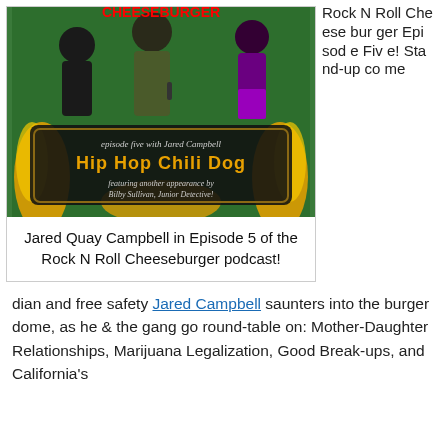[Figure (photo): Podcast cover art for Hip Hop Chili Dog episode five with Jared Campbell, featuring performers on a flaming background with text 'episode five with Jared Campbell Hip Hop Chili Dog featuring another appearance by Bilby Sullivan, Junior Detective!']
Jared Quay Campbell in Episode 5 of the Rock N Roll Cheeseburger podcast!
Rock N Roll Cheeseburger Episode Five! Stand-up comedian and free safety Jared Campbell saunters into the burger dome, as he & the gang go round-table on: Mother-Daughter Relationships, Marijuana Legalization, Good Break-ups, and California's
dian and free safety Jared Campbell saunters into the burger dome, as he & the gang go round-table on: Mother-Daughter Relationships, Marijuana Legalization, Good Break-ups, and California's